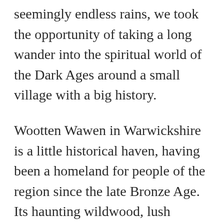seemingly endless rains, we took the opportunity of taking a long wander into the spiritual world of the Dark Ages around a small village with a big history.
Wootten Wawen in Warwickshire is a little historical haven, having been a homeland for people of the region since the late Bronze Age. Its haunting wildwood, lush pastures and meadows gave rise to an early society of scattered farmsteads linked together with a network of paths and a river, and all its ancient peoples have left their marks and mysteries in the landscape across the